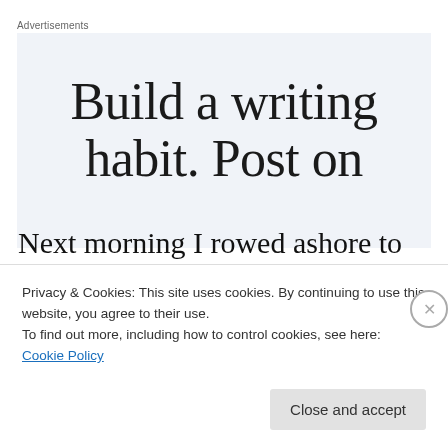Advertisements
[Figure (other): Advertisement banner with text 'Build a writing habit. Post on' on a light blue-grey background]
Next morning I rowed ashore to explore the town and quickly found that the neat bungalows along the beach belonged to the Army and were on a large military
Privacy & Cookies: This site uses cookies. By continuing to use this website, you agree to their use.
To find out more, including how to control cookies, see here: Cookie Policy
Close and accept